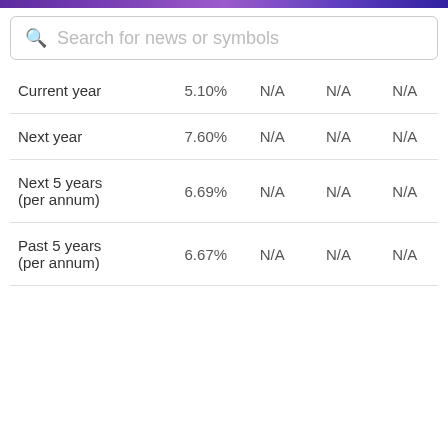Search for news or symbols
|  |  |  |  |  |
| --- | --- | --- | --- | --- |
| Current year | 5.10% | N/A | N/A | N/A |
| Next year | 7.60% | N/A | N/A | N/A |
| Next 5 years (per annum) | 6.69% | N/A | N/A | N/A |
| Past 5 years (per annum) | 6.67% | N/A | N/A | N/A |